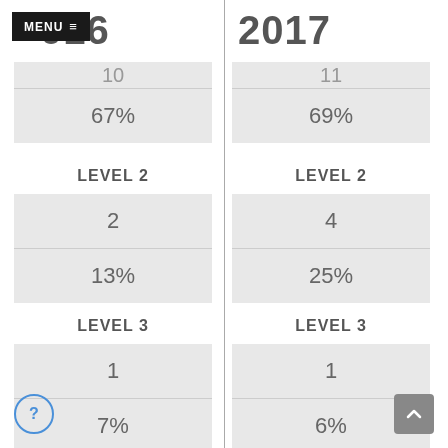2016
2017
67%
69%
LEVEL 2
LEVEL 2
2
4
13%
25%
LEVEL 3
LEVEL 3
1
1
7%
6%